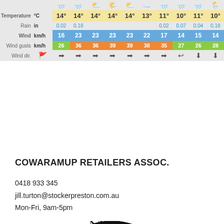[Figure (other): Weather forecast table showing temperature, rain, wind, wind gusts, and wind direction for 10 time periods]
COWARAMUP RETAILERS ASSOC.
0418 933 345
jill.turton@stockerpreston.com.au
Mon-Fri, 9am-5pm
[Figure (logo): Cowaramup circular logo with decorative script lettering]